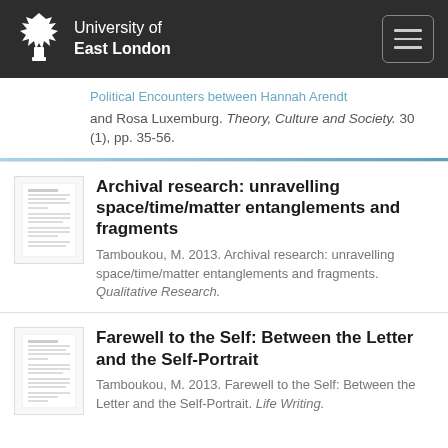University of East London
and Rosa Luxemburg. Theory, Culture and Society. 30 (1), pp. 35-56.
Archival research: unravelling space/time/matter entanglements and fragments
Tamboukou, M. 2013. Archival research: unravelling space/time/matter entanglements and fragments. Qualitative Research.
Farewell to the Self: Between the Letter and the Self-Portrait
Tamboukou, M. 2013. Farewell to the Self: Between the Letter and the Self-Portrait. Life Writing.